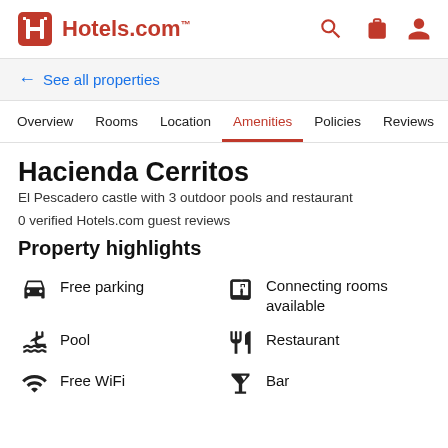Hotels.com
← See all properties
Overview  Rooms  Location  Amenities  Policies  Reviews
Hacienda Cerritos
El Pescadero castle with 3 outdoor pools and restaurant
0 verified Hotels.com guest reviews
Property highlights
Free parking
Connecting rooms available
Pool
Restaurant
Free WiFi
Bar